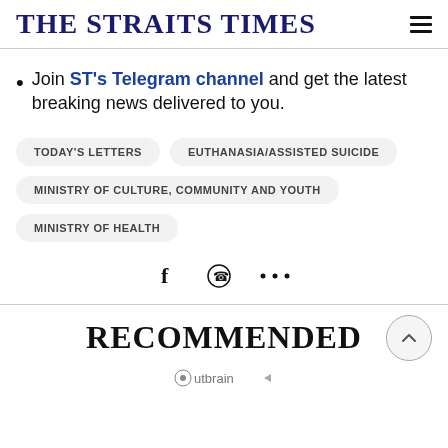THE STRAITS TIMES
Join ST's Telegram channel and get the latest breaking news delivered to you.
TODAY'S LETTERS
EUTHANASIA/ASSISTED SUICIDE
MINISTRY OF CULTURE, COMMUNITY AND YOUTH
MINISTRY OF HEALTH
[Figure (infographic): Social share icons: Facebook, WhatsApp, and more (ellipsis)]
RECOMMENDED
[Figure (logo): Outbrain logo]